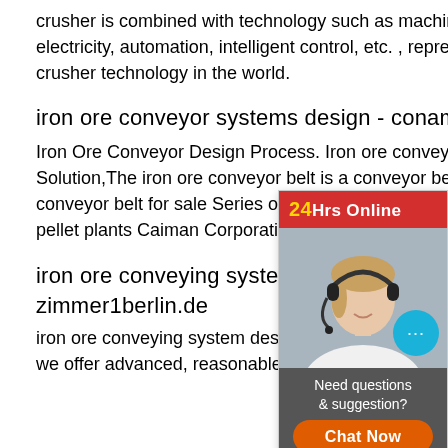crusher is combined with technology such as machinery, hydraulic pressure, electricity, automation, intelligent control, etc. , representing the most advanced crusher technology in the world.
iron ore conveyor systems design - conamex.pl
Iron Ore Conveyor Design Process. Iron ore conveying systems breakers for sale Solution,The iron ore conveyor belt is a conveyor belt system designed f ore conveyor belt for sale Series of ordina suitable for conveying easily, Control Sys pellet plants Caiman Corporationcoal wa ngicdmxorgmxcoal washery.
iron ore conveying system desig zimmer1berlin.de
iron ore conveying system design. As a le manufacturer of crushing, grinding and m we offer advanced, reasonable solutions reduction requirements including quarry
[Figure (other): Chat widget overlay showing a customer service representative with headset, a '24Hrs Online' red header, a teal chat bubble with ellipsis, a dark gray panel with 'Need questions & suggestion?' text, an orange 'Chat Now' button, and a red 'Enquire' bar at the bottom.]